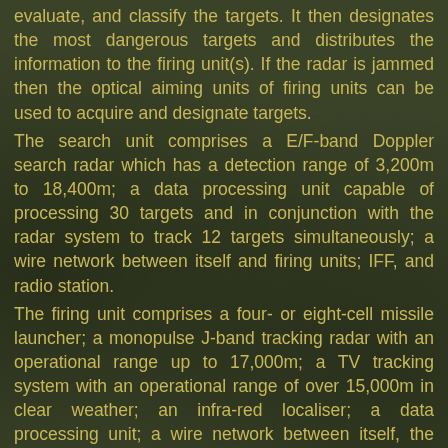evaluate, and classify the targets. It then designates the most dangerous targets and distributes the information to the firing unit(s). If the radar is jammed then the optical aiming units of firing units can be used to acquire and designate targets. The search unit comprises a E/F-band Doppler search radar which has a detection range of 3,200m to 18,400m; a data processing unit capable of processing 30 targets and in conjunction with the radar system to track 12 targets simultaneously; a wire network between itself and firing units; IFF, and radio station. The firing unit comprises a four- or eight-cell missile launcher; a monopulse J-band tracking radar with an operational range up to 17,000m; a TV tracking system with an operational range of over 15,000m in clear weather; an infra-red localiser; a data processing unit; a wire network between itself, the search unit, and other firing units. The self-propelled version HQ-7 is mounted on a P4R electricity-